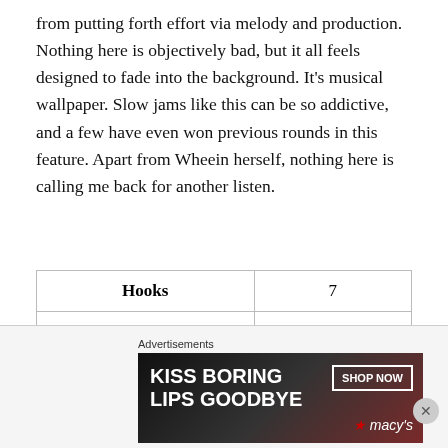from putting forth effort via melody and production. Nothing here is objectively bad, but it all feels designed to fade into the background. It's musical wallpaper. Slow jams like this can be so addictive, and a few have even won previous rounds in this feature. Apart from Wheein herself, nothing here is calling me back for another listen.
| Hooks | 7 |
| Production | 7 |
| Longevity | 7 |
| Bias | 6 |
| RATING | 6.75 |
Advertisements
[Figure (photo): Advertisement banner: KISS BORING LIPS GOODBYE with SHOP NOW and Macy's star logo on dark background with lips image]